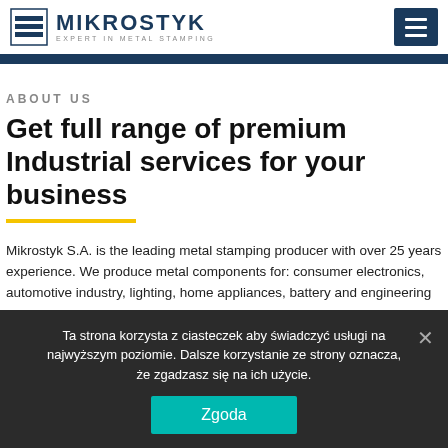MIKROSTYK EXPERT IN METAL STAMPING
ABOUT US
Get full range of premium Industrial services for your business
Mikrostyk S.A. is the leading metal stamping producer with over 25 years experience. We produce metal components for: consumer electronics, automotive industry, lighting, home appliances, battery and engineering
Ta strona korzysta z ciasteczek aby świadczyć usługi na najwyższym poziomie. Dalsze korzystanie ze strony oznacza, że zgadzasz się na ich użycie. Zgoda